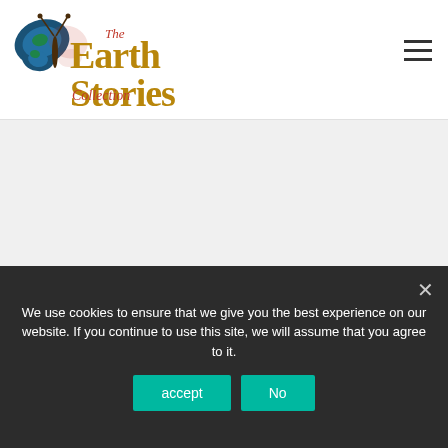[Figure (logo): The Earth Stories Collection logo with butterfly and decorative text]
[Figure (photo): Black and white circular cropped portrait photo of a person with grey/white hair]
We use cookies to ensure that we give you the best experience on our website. If you continue to use this site, we will assume that you agree to it.